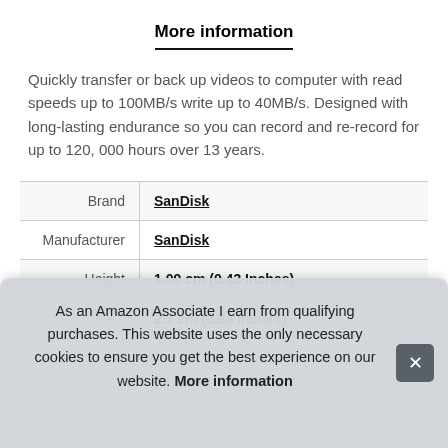More information
Quickly transfer or back up videos to computer with read speeds up to 100MB/s write up to 40MB/s. Designed with long-lasting endurance so you can record and re-record for up to 120, 000 hours over 13 years.
| Brand | SanDisk |
| Manufacturer | SanDisk |
| Height | 1.09 cm (0.43 Inches) |
As an Amazon Associate I earn from qualifying purchases. This website uses the only necessary cookies to ensure you get the best experience on our website. More information